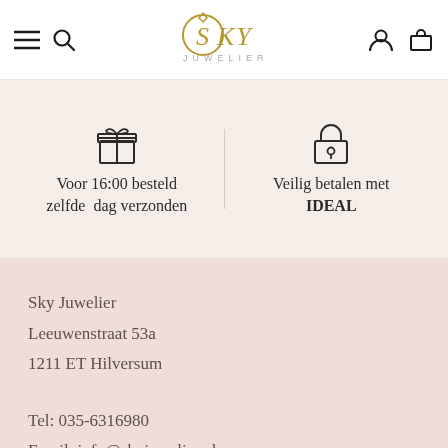Sky Juwelier — navigation header with hamburger menu, search, logo, account and cart icons
[Figure (illustration): Gift box icon above text 'Voor 16:00 besteld zelfde dag verzonden']
Voor 16:00 besteld zelfde dag verzonden
[Figure (illustration): Padlock icon above text 'Veilig betalen met IDEAL']
Veilig betalen met IDEAL
Sky Juwelier
Leeuwenstraat 53a
1211 ET Hilversum
Tel: 035-6316980
Email: info@skyjuwelier.nl